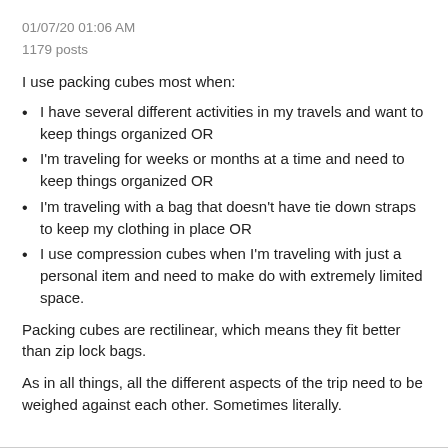01/07/20 01:06 AM
1179 posts
I use packing cubes most when:
I have several different activities in my travels and want to keep things organized OR
I'm traveling for weeks or months at a time and need to keep things organized OR
I'm traveling with a bag that doesn't have tie down straps to keep my clothing in place OR
I use compression cubes when I'm traveling with just a personal item and need to make do with extremely limited space.
Packing cubes are rectilinear, which means they fit better than zip lock bags.
As in all things, all the different aspects of the trip need to be weighed against each other. Sometimes literally.